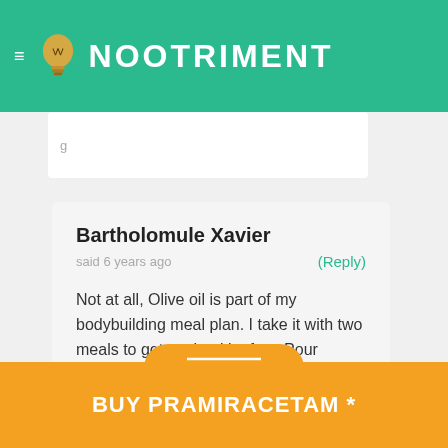NOOTRIMENT
g...
Bartholomule Xavier
said 6 years ago
(Reply)
Not at all, Olive oil is part of my bodybuilding meal plan. I take it with two meals to get my healthy fats. Pour yourself a little shot, and just take it down with a sip of water. Enjoy!
BUY PRAMIRACETAM *